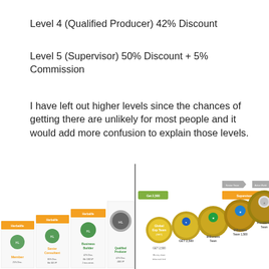Level 4 (Qualified Producer) 42% Discount
Level 5 (Supervisor) 50% Discount + 5% Commission
I have left out higher levels since the chances of getting there are unlikely for most people and it would add more confusion to explain those levels.
[Figure (infographic): Herbalife membership levels diagram showing progression from Member through Senior Consultant, Business Builder, Qualified Producer, Supervisor, World Team, Global Expansion Team, GET 2,500, Millionaire Team, Millionaire Team 1,500, and President's Team, each with badges/pins increasing in prestige from left to right, with text descriptions of requirements below each level.]